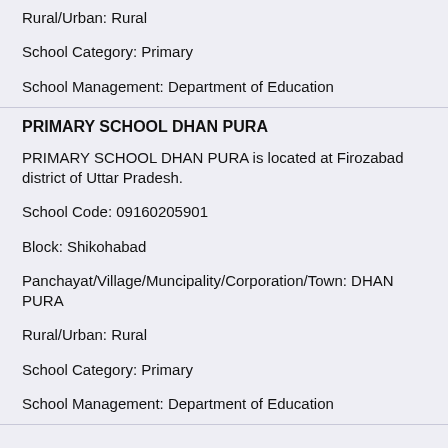Rural/Urban: Rural
School Category: Primary
School Management: Department of Education
PRIMARY SCHOOL DHAN PURA
PRIMARY SCHOOL DHAN PURA is located at Firozabad district of Uttar Pradesh.
School Code: 09160205901
Block: Shikohabad
Panchayat/Village/Muncipality/Corporation/Town: DHAN PURA
Rural/Urban: Rural
School Category: Primary
School Management: Department of Education